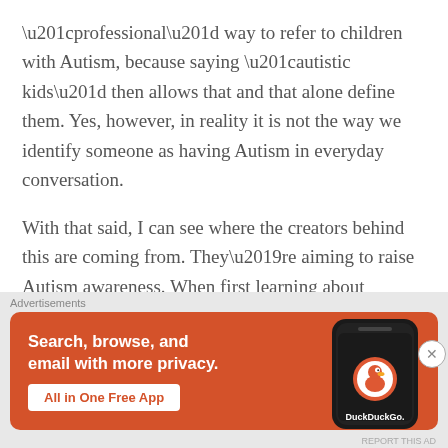“professional” way to refer to children with Autism, because saying “autistic kids” then allows that and that alone define them. Yes, however, in reality it is not the way we identify someone as having Autism in everyday conversation.

With that said, I can see where the creators behind this are coming from. They’re aiming to raise Autism awareness. When first learning about Autism, it would be confusing for the general public
[Figure (screenshot): DuckDuckGo advertisement banner with orange background. Text reads 'Search, browse, and email with more privacy. All in One Free App' with a phone showing the DuckDuckGo app.]